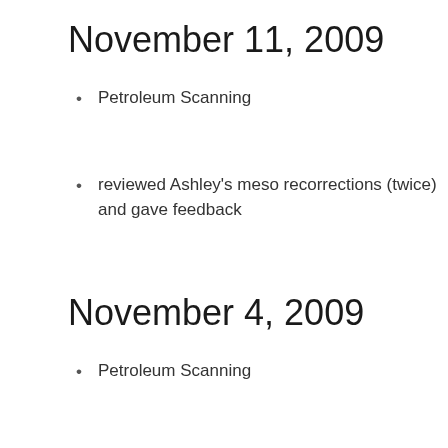November 11, 2009
Petroleum Scanning
reviewed Ashley's meso recorrections (twice) and gave feedback
November 4, 2009
Petroleum Scanning